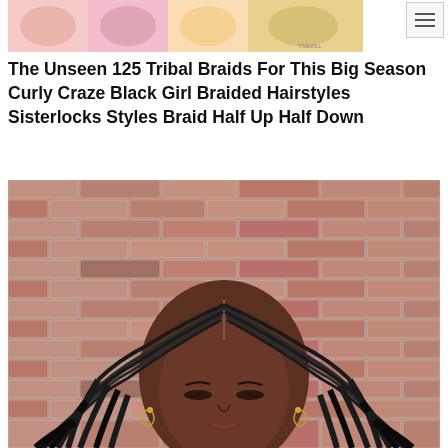[Figure (photo): Partial top image strip showing colorful hairstyle collage]
The Unseen 125 Tribal Braids For This Big Season Curly Craze Black Girl Braided Hairstyles Sisterlocks Styles Braid Half Up Half Down
[Figure (photo): Photo of a Black woman with tribal cornrow braids on top, flowing box braids down the sides, standing in front of a brick wall, eyes closed, wearing earrings]